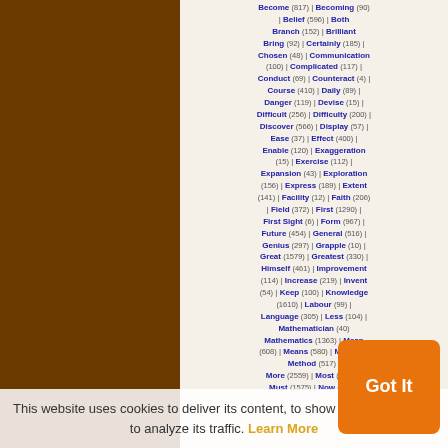Become (817) | Becoming (90) | Belief (596) | Both | Branch (152) | Brilliant | Bring (92) | Certainly (185) | Chosen (48) | Communication (100) | Complicated (117) | Conduct (69) | Counteract (4) | Course (410) | Daily (89) | Danger (119) | Devise (15) | Difficult (256) | Difficulty (200) | Discover (566) | Display (57) | Ease (37) | Effect (400) | Enable (120) | Exaggeration (15) | Exercise (112) | Expansion (43) | Exploration (156) | Express (189) | Extent (141) | Facility (12) | Faith (206) | Field (372) | First (1290) | First Sight (6) | Form (967) | Future (454) | General (516) | Genius (297) | Grapple (10) | Great (1579) | Greatest (330) | Himself (461) | Improvement (114) | Increase (219) | Invent (54) | Keep (100) | Knowledge (1610) | Labour (99) | Language (305) | Less (104) | Mathematician (40) | Mathematics (1363) | Mean (608) | Means (580) | Mere (8) | Method (517) | More (2559) | Most (1728) | Must (1575) | Now (1144)
This website uses cookies to deliver its content, to show relevant ads and to analyze its traffic. Learn More
Got It